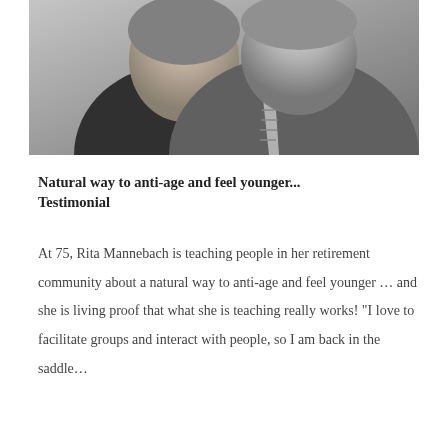[Figure (photo): Black and white photograph of two people (a woman in black top with necklace and a man in suit with striped tie), cropped to show upper body and faces.]
Natural way to anti-age and feel younger... Testimonial
At 75, Rita Mannebach is teaching people in her retirement community about a natural way to anti-age and feel younger ... and she is living proof that what she is teaching really works! "I love to facilitate groups and interact with people, so I am back in the saddle...